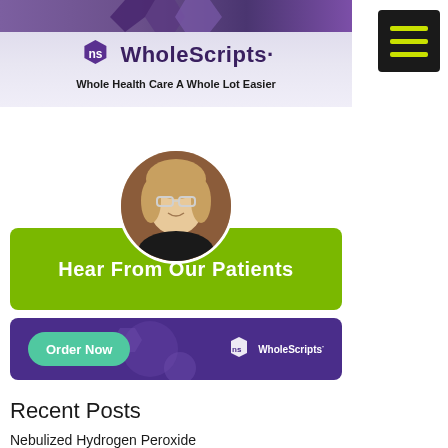[Figure (logo): WholeScripts logo with tagline 'Whole Health Care A Whole Lot Easier' on light purple banner with hexagonal design elements at top]
[Figure (photo): Circular portrait photo of blonde woman with glasses]
[Figure (infographic): Green banner button with white text 'Hear From Our Patients']
[Figure (infographic): Purple banner with 'Order Now' teal button and WholeScripts logo]
Recent Posts
Nebulized Hydrogen Peroxide